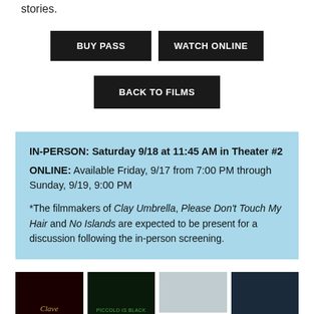stories.
BUY PASS
WATCH ONLINE
BACK TO FILMS
IN-PERSON: Saturday 9/18 at 11:45 AM in Theater #2
ONLINE: Available Friday, 9/17 from 7:00 PM through Sunday, 9/19, 9:00 PM

*The filmmakers of Clay Umbrella, Please Don't Touch My Hair and No Islands are expected to be present for a discussion following the in-person screening.
[Figure (photo): Four film poster thumbnails at bottom: Clave (dark red), Piccolo Is Black (dark green), unlabeled landscape (grey), World film (dark blue)]